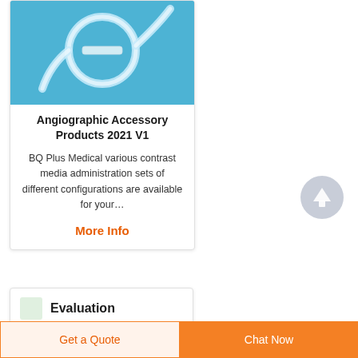[Figure (photo): Photo of angiographic tubing/contrast media administration set on blue background]
Angiographic Accessory Products 2021 V1
BQ Plus Medical various contrast media administration sets of different configurations are available for your…
More Info
[Figure (other): Scroll-to-top circular arrow button icon]
Evaluation
Get a Quote
Chat Now